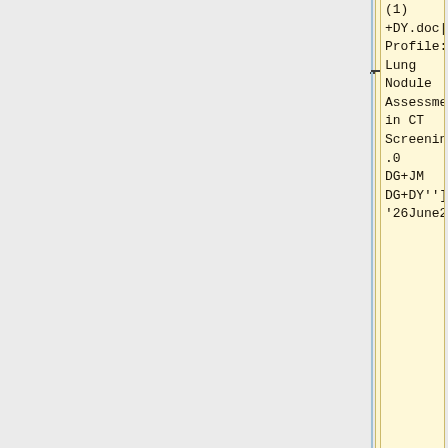(1) +DY.doc|QIBA Profile: Lung Nodule Assessment in CT Screening,v1.0 DG+JM DG+DY'']] '26June2013'
* [[Media:QIBA CT Vol LungNoduleAssessmentInCT Screening v10 DG+JM DG JS DG-6-13-13.doc|QIBA Profile: Lung Nodule